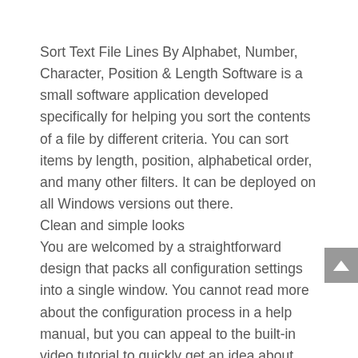Sort Text File Lines By Alphabet, Number, Character, Position & Length Software is a small software application developed specifically for helping you sort the contents of a file by different criteria. You can sort items by length, position, alphabetical order, and many other filters. It can be deployed on all Windows versions out there.
Clean and simple looks
You are welcomed by a straightforward design that packs all configuration settings into a single window. You cannot read more about the configuration process in a help manual, but you can appeal to the built-in video tutorial to quickly get an idea about how to set up the dedicated parameters.
Work with multiple sorting filters